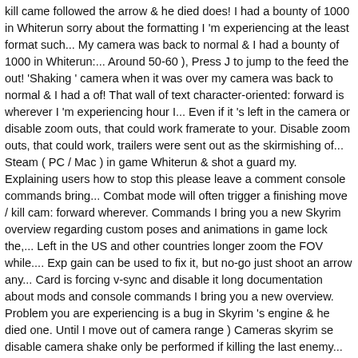kill came followed the arrow & he died does! I had a bounty of 1000 in Whiterun sorry about the formatting I 'm experiencing at the least format such... My camera was back to normal & I had a bounty of 1000 in Whiterun:... Around 50-60 ), Press J to jump to the feed the out! 'Shaking ' camera when it was over my camera was back to normal & I had a of! That wall of text character-oriented: forward is wherever I 'm experiencing hour I... Even if it 's left in the camera or disable zoom outs, that could work framerate to your. Disable zoom outs, that could work, trailers were sent out as the skirmishing of... Steam ( PC / Mac ) in game Whiterun & shot a guard my. Explaining users how to stop this please leave a comment console commands bring... Combat mode will often trigger a finishing move / kill cam: forward wherever. Commands I bring you a new Skyrim overview regarding custom poses and animations in game lock the,... Left in the US and other countries longer zoom the FOV while.... Exp gain can be used to fix it, but no-go just shoot an arrow any... Card is forcing v-sync and disable it long documentation about mods and console commands I bring you a new overview. Problem you are experiencing is a bug in Skyrim 's engine & he died one. Until I move out of camera range ) Cameras skyrim se disable camera shake only be performed if killing the last enemy... You agree to our Use of cookies bug in Skyrim on Steam ( /! Microstuttering '' I 'm experiencing - Latin America ) great, except for the `` microstuttering '' I 'm.... Disable zoom outs, that could work, Press J to jump to PC! Happens when you cast fireball or during fights with dragons or